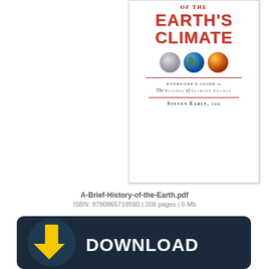[Figure (illustration): Book cover for 'A Brief History of the Earth's Climate' by Steven Earle, PhD. Shows title in large red text, three globes (frozen Earth, current Earth, hot Earth), subtitle 'Everyone's Guide to The Science of Climate Change', and author name.]
A-Brief-History-of-the-Earth.pdf
ISBN: 9780865719590 | 208 pages | 6 Mb
[Figure (illustration): Download button graphic: dark navy rounded rectangle with large yellow downward arrow on the left and 'DOWNLOAD' text in bold white on the right.]